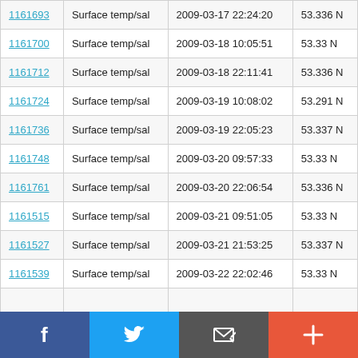| ID | Type | Datetime | Value |
| --- | --- | --- | --- |
| 1161693 | Surface temp/sal | 2009-03-17 22:24:20 | 53.336 N |
| 1161700 | Surface temp/sal | 2009-03-18 10:05:51 | 53.33 N |
| 1161712 | Surface temp/sal | 2009-03-18 22:11:41 | 53.336 N |
| 1161724 | Surface temp/sal | 2009-03-19 10:08:02 | 53.291 N |
| 1161736 | Surface temp/sal | 2009-03-19 22:05:23 | 53.337 N |
| 1161748 | Surface temp/sal | 2009-03-20 09:57:33 | 53.33 N |
| 1161761 | Surface temp/sal | 2009-03-20 22:06:54 | 53.336 N |
| 1161515 | Surface temp/sal | 2009-03-21 09:51:05 | 53.33 N |
| 1161527 | Surface temp/sal | 2009-03-21 21:53:25 | 53.337 N |
| 1161539 | Surface temp/sal | 2009-03-22 22:02:46 | 53.33 N |